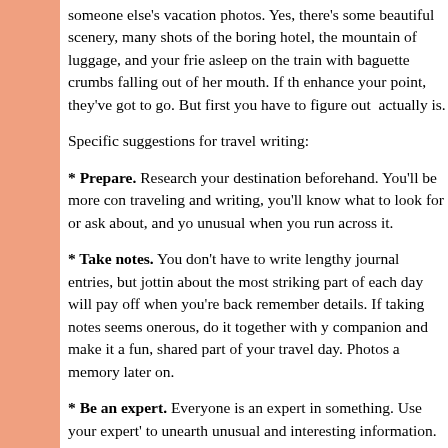someone else's vacation photos. Yes, there's some beautiful scenery, many shots of the boring hotel, the mountain of luggage, and your frie asleep on the train with baguette crumbs falling out of her mouth. If th enhance your point, they've got to go. But first you have to figure out  actually is.
Specific suggestions for travel writing:
* Prepare. Research your destination beforehand. You'll be more con traveling and writing, you'll know what to look for or ask about, and yo unusual when you run across it.
* Take notes. You don't have to write lengthy journal entries, but jottin about the most striking part of each day will pay off when you're back remember details. If taking notes seems onerous, do it together with y companion and make it a fun, shared part of your travel day. Photos a memory later on.
* Be an expert. Everyone is an expert in something. Use your expert' to unearth unusual and interesting information. How do people keep b in Bolivia? Provide health care in Haiti? If you zero in on your expert s you're traveling, you'll see things no one else does and be able to wri piece, authoritatively.